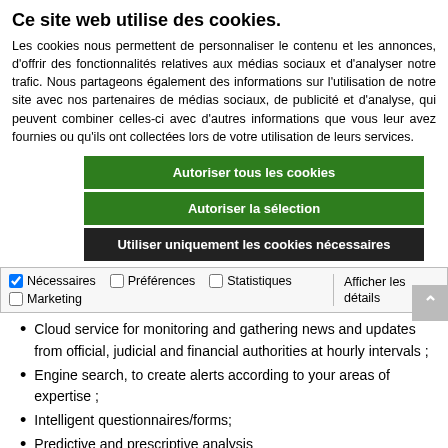Ce site web utilise des cookies.
Les cookies nous permettent de personnaliser le contenu et les annonces, d'offrir des fonctionnalités relatives aux médias sociaux et d'analyser notre trafic. Nous partageons également des informations sur l'utilisation de notre site avec nos partenaires de médias sociaux, de publicité et d'analyse, qui peuvent combiner celles-ci avec d'autres informations que vous leur avez fournies ou qu'ils ont collectées lors de votre utilisation de leurs services.
Autoriser tous les cookies
Autoriser la sélection
Utiliser uniquement les cookies nécessaires
Nécessaires  Préférences  Statistiques  Marketing  Afficher les détails
Cloud service for monitoring and gathering news and updates from official, judicial and financial authorities at hourly intervals ;
Engine search, to create alerts according to your areas of expertise ;
Intelligent questionnaires/forms;
Predictive and prescriptive analysis